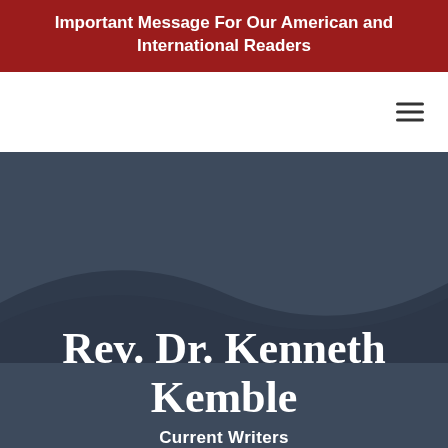Important Message For Our American and International Readers
Rev. Dr. Kenneth Kemble
Current Writers